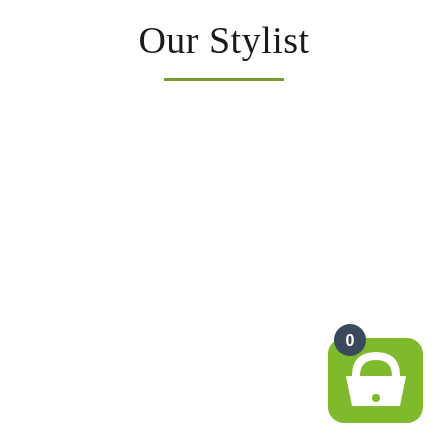Our Stylist
[Figure (illustration): Green shopping basket icon with white basket symbol, and a dark circular badge showing the number 0 in white, positioned in the bottom-right corner]